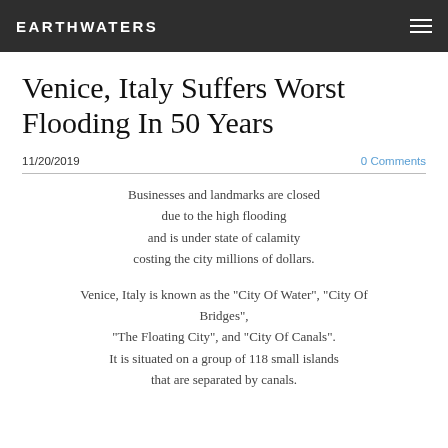EARTHWATERS
Venice, Italy Suffers Worst Flooding In 50 Years
11/20/2019   0 Comments
Businesses and landmarks are closed due to the high flooding and is under state of calamity costing the city millions of dollars.
Venice, Italy is known as the "City Of Water", "City Of Bridges", "The Floating City", and "City Of Canals". It is situated on a group of 118 small islands that are separated by canals.